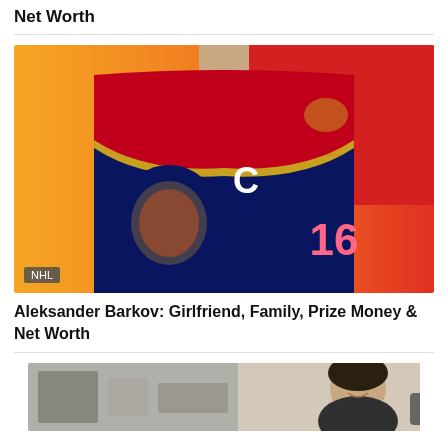Net Worth
[Figure (photo): Hockey player wearing Florida Panthers jersey number 16 with captain C, posing against orange-red background]
NHL
Aleksander Barkov: Girlfriend, Family, Prize Money & Net Worth
[Figure (photo): Partial view of a second article card at the bottom of the page showing two people]